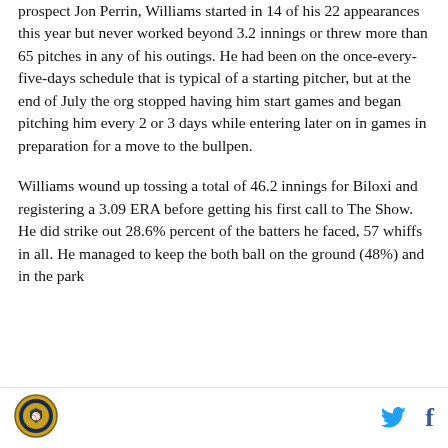prospect Jon Perrin, Williams started in 14 of his 22 appearances this year but never worked beyond 3.2 innings or threw more than 65 pitches in any of his outings. He had been on the once-every-five-days schedule that is typical of a starting pitcher, but at the end of July the org stopped having him start games and began pitching him every 2 or 3 days while entering later on in games in preparation for a move to the bullpen.
Williams wound up tossing a total of 46.2 innings for Biloxi and registering a 3.09 ERA before getting his first call to The Show. He did strike out 28.6% percent of the batters he faced, 57 whiffs in all. He managed to keep the both ball on the ground (48%) and in the park
[Figure (logo): Circular gold and dark blue baseball organization logo]